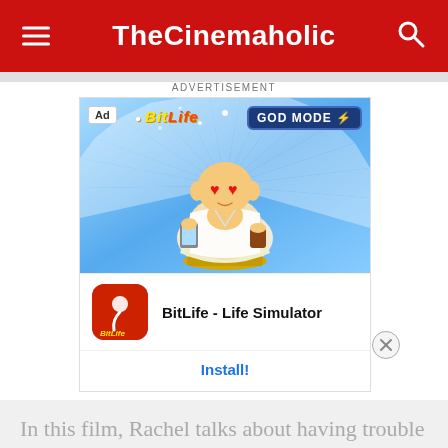TheCinemaholic
[Figure (screenshot): BitLife Life Simulator advertisement banner with a cartoon Buddha character with heart eyes holding a phone and cup, GOD MODE badge top right, BitLife logo top left, app icon and Install button below.]
In this film, Rachel talks about having trouble with anxiety, making all of the changes in her life circumstances particularly